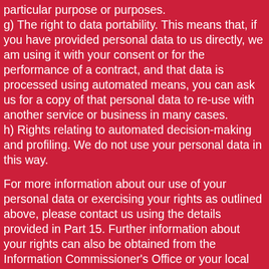particular purpose or purposes.
g) The right to data portability. This means that, if you have provided personal data to us directly, we am using it with your consent or for the performance of a contract, and that data is processed using automated means, you can ask us for a copy of that personal data to re-use with another service or business in many cases.
h) Rights relating to automated decision-making and profiling. We do not use your personal data in this way.
For more information about our use of your personal data or exercising your rights as outlined above, please contact us using the details provided in Part 15. Further information about your rights can also be obtained from the Information Commissioner's Office or your local Citizens Advice Bureau. If you have any cause for complaint about our use of your personal data, you have the right to lodge a complaint with the Information Commissioner's Office.